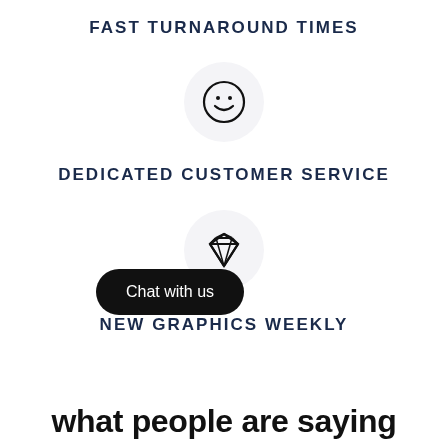FAST TURNAROUND TIMES
[Figure (illustration): Smiley face emoji icon inside a light gray circle]
DEDICATED CUSTOMER SERVICE
[Figure (illustration): Diamond gem icon inside a light gray circle]
NEW GRAPHICS WEEKLY
Chat with us
what people are saying